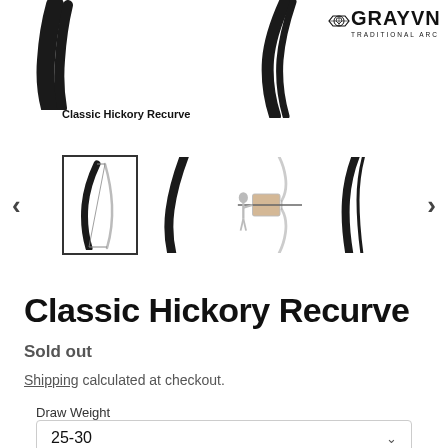[Figure (photo): Product page screenshot for Classic Hickory Recurve bow from GRAYVN Traditional Archery. Shows a top image strip with a dark recurve bow on the left and the GRAYVN logo on the right. Below is a thumbnail carousel with left/right navigation arrows showing four bow thumbnail images. The first thumbnail is selected (bordered). Text below shows product title 'Classic Hickory Recurve', status 'Sold out', shipping note, and a Draw Weight dropdown selector set to '25-30'.]
Classic Hickory Recurve
Classic Hickory Recurve
Sold out
Shipping calculated at checkout.
Draw Weight
25-30